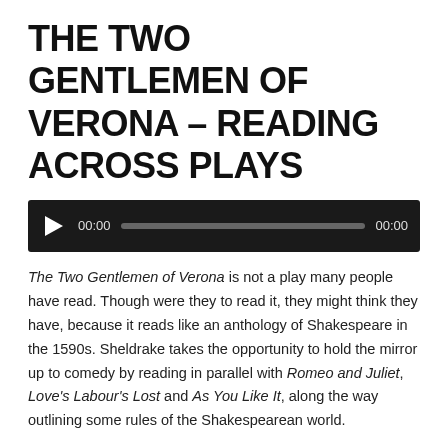THE TWO GENTLEMEN OF VERONA – READING ACROSS PLAYS
[Figure (other): Audio player with play button, time display 00:00, progress bar, and end time 00:00 on dark background]
The Two Gentlemen of Verona is not a play many people have read. Though were they to read it, they might think they have, because it reads like an anthology of Shakespeare in the 1590s. Sheldrake takes the opportunity to hold the mirror up to comedy by reading in parallel with Romeo and Juliet, Love's Labour's Lost and As You Like It, along the way outlining some rules of the Shakespearean world.
Also available on iTunes: http://tinyurl.com/ndhzfxm
Posted in Podcasts and tagged As You Like It, Blindness, Comedy,